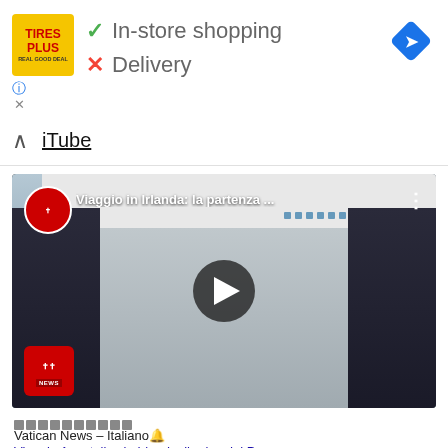[Figure (screenshot): Tires Plus ad banner showing yellow logo, In-store shopping (green checkmark) and Delivery (red X), with a blue navigation diamond icon top right]
↑  iTube
[Figure (screenshot): YouTube video embed showing Vatican News video titled 'Viaggio in Irlanda: la partenza ...' with Alitalia plane and carabinieri in uniform, play button overlay, Vatican News logo badge]
□□□□□□□□□□
Vatican News – Italiano🔔
Viaggio Apostolico in Irlanda: l'arrivo del Papa –